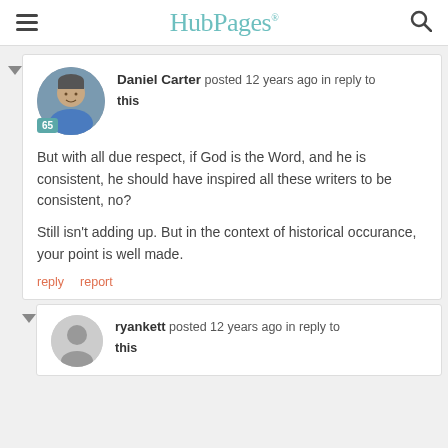HubPages
Daniel Carter posted 12 years ago in reply to this

But with all due respect, if God is the Word, and he is consistent, he should have inspired all these writers to be consistent, no?

Still isn't adding up. But in the context of historical occurance, your point is well made.
reply   report
ryankett posted 12 years ago in reply to this